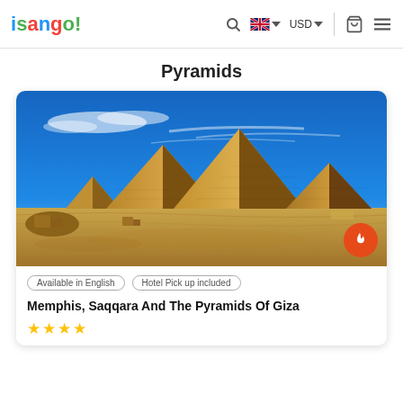isango! — search, English/USD, cart, menu
Pyramids
[Figure (photo): Photograph of the three Great Pyramids of Giza under a blue sky with wispy clouds, viewed from the sandy desert foreground.]
Available in English   Hotel Pick up included
Memphis, Saqqara And The Pyramids Of Giza
★★★★